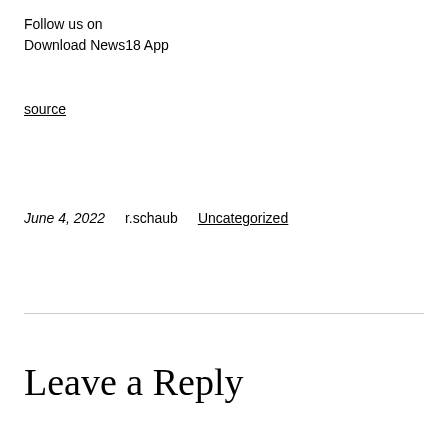Follow us on
Download News18 App
source
June 4, 2022    r.schaub    Uncategorized
Leave a Reply